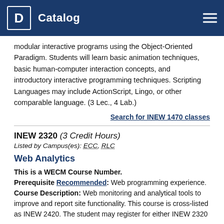Catalog
modular interactive programs using the Object-Oriented Paradigm. Students will learn basic animation techniques, basic human-computer interaction concepts, and introductory interactive programming techniques. Scripting Languages may include ActionScript, Lingo, or other comparable language. (3 Lec., 4 Lab.)
Search for INEW 1470 classes
INEW 2320 (3 Credit Hours)
Listed by Campus(es): ECC, RLC
Web Analytics
This is a WECM Course Number.
Prerequisite Recommended: Web programming experience.
Course Description: Web monitoring and analytical tools to improve and report site functionality. This course is cross-listed as INEW 2420. The student may register for either INEW 2320